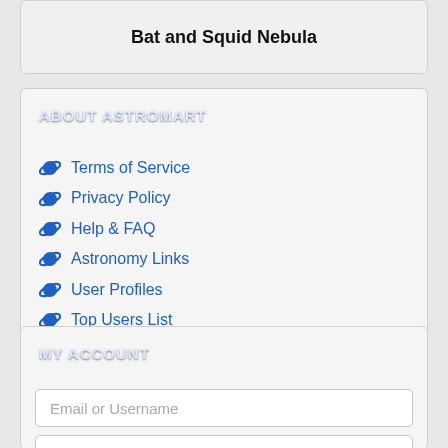Bat and Squid Nebula
ABOUT ASTROMART
Terms of Service
Privacy Policy
Help & FAQ
Astronomy Links
User Profiles
Top Users List
Sponsors
Supporters
RSS Feeds
MY ACCOUNT
Email or Username
Password